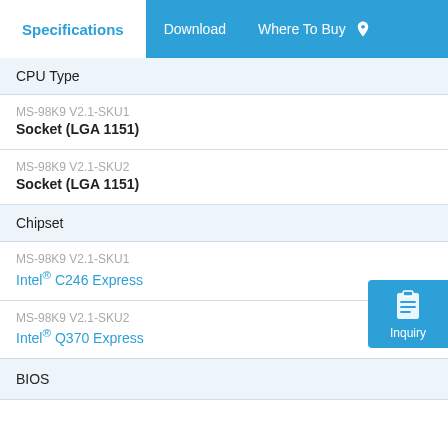Specifications | Download | Where To Buy
| Property | SKU | Value |
| --- | --- | --- |
| CPU Type |  |  |
|  | MS-98K9 V2.1-SKU1 | Socket (LGA 1151) |
|  | MS-98K9 V2.1-SKU2 | Socket (LGA 1151) |
| Chipset |  |  |
|  | MS-98K9 V2.1-SKU1 | Intel® C246 Express |
|  | MS-98K9 V2.1-SKU2 | Intel® Q370 Express |
| BIOS |  |  |